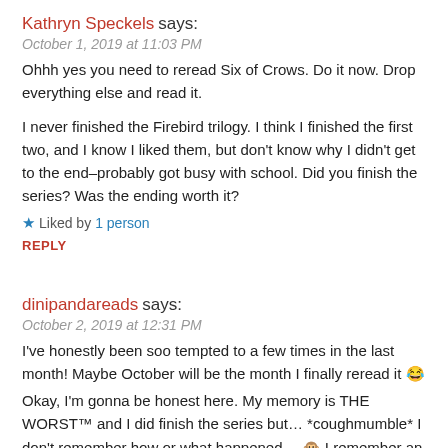Kathryn Speckels says:
October 1, 2019 at 11:03 PM
Ohhh yes you need to reread Six of Crows. Do it now. Drop everything else and read it.
I never finished the Firebird trilogy. I think I finished the first two, and I know I liked them, but don't know why I didn't get to the end–probably got busy with school. Did you finish the series? Was the ending worth it?
★ Liked by 1 person
REPLY
dinipandareads says:
October 2, 2019 at 12:31 PM
I've honestly been soo tempted to a few times in the last month! Maybe October will be the month I finally reread it 😂
Okay, I'm gonna be honest here. My memory is THE WORST™ and I did finish the series but… *coughmumble* I don't remember how or what happened… 🙊 I remember an underwater world though and that's…